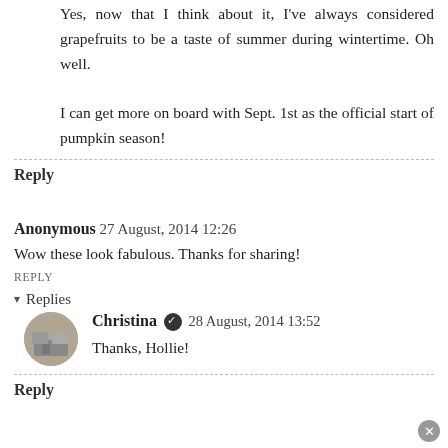Yes, now that I think about it, I've always considered grapefruits to be a taste of summer during wintertime. Oh well.

I can get more on board with Sept. 1st as the official start of pumpkin season!
Reply
Anonymous 27 August, 2014 12:26
Wow these look fabulous. Thanks for sharing!
REPLY
Replies
Christina ✓ 28 August, 2014 13:52
Thanks, Hollie!
Reply